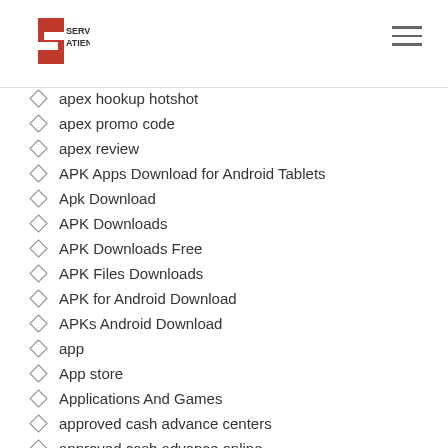SERVI ATIENDE
apex hookup hotshot
apex promo code
apex review
APK Apps Download for Android Tablets
Apk Download
APK Downloads
APK Downloads Free
APK Files Downloads
APK for Android Download
APKs Android Download
app
App store
Applications And Games
approved cash advance centers
approved cash advance online
approved cash advance probate
approved cash loan
approved for turbo tax cash advance